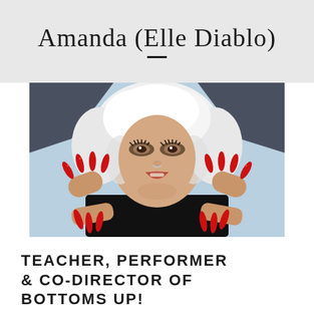Amanda (Elle Diablo)
[Figure (photo): A woman with white/platinum blonde hair, heavy eye makeup, red glitter stiletto nails, wearing a black outfit, posed dramatically with hands near her face/mouth]
TEACHER, PERFORMER & CO-DIRECTOR OF BOTTOMS UP!